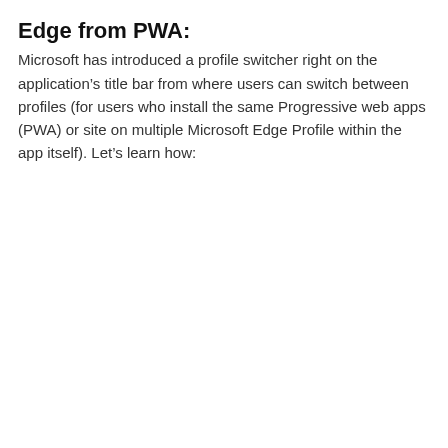Edge from PWA:
Microsoft has introduced a profile switcher right on the application’s title bar from where users can switch between profiles (for users who install the same Progressive web apps (PWA) or site on multiple Microsoft Edge Profile within the app itself). Let’s learn how: